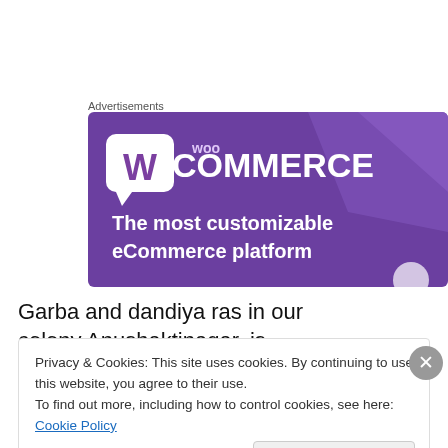Advertisements
[Figure (screenshot): WooCommerce advertisement banner with purple background. Shows WooCommerce logo with speech-bubble W icon and text 'The most customizable eCommerce platform']
Garba and dandiya ras in our colony,Anushaktinagar, is
Privacy & Cookies: This site uses cookies. By continuing to use this website, you agree to their use.
To find out more, including how to control cookies, see here: Cookie Policy
Close and accept